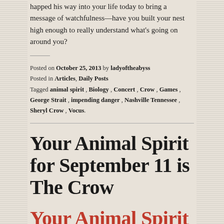happed his way into your life today to bring a message of watchfulness—have you built your nest high enough to really understand what's going on around you?
Posted on October 25, 2013 by ladyoftheabyss
Posted in Articles, Daily Posts
Tagged animal spirit, Biology, Concert, Crow, Games, George Strait, impending danger, Nashville Tennessee, Sheryl Crow, Vocus.
Your Animal Spirit for September 11 is The Crow
Your Animal Spirit for